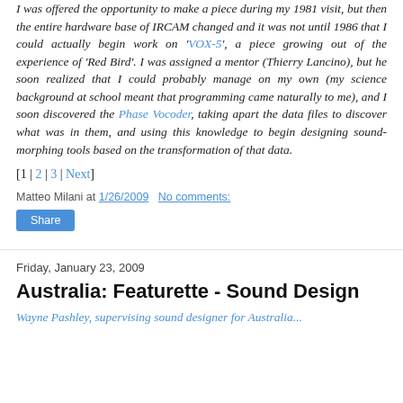I was offered the opportunity to make a piece during my 1981 visit, but then the entire hardware base of IRCAM changed and it was not until 1986 that I could actually begin work on 'VOX-5', a piece growing out of the experience of 'Red Bird'. I was assigned a mentor (Thierry Lancino), but he soon realized that I could probably manage on my own (my science background at school meant that programming came naturally to me), and I soon discovered the Phase Vocoder, taking apart the data files to discover what was in them, and using this knowledge to begin designing sound-morphing tools based on the transformation of that data.
[1 | 2 | 3 | Next]
Matteo Milani at 1/26/2009   No comments:
Share
Friday, January 23, 2009
Australia: Featurette - Sound Design
Wayne Pashley, supervising sound designer for Australia...